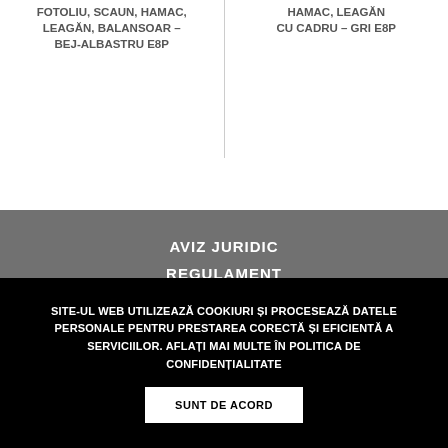FOTOLIU, SCAUN, HAMAC, LEAGĂN, BALANSOAR – BEJ-ALBASTRU E8P
HAMAC, LEAGĂN CU CADRU – GRI E8P
AVIZ JURIDIC
REGULAMENT
SITE-UL WEB UTILIZEAZĂ COOKIURI ȘI PROCESEAZĂ DATELE PERSONALE PENTRU PRESTAREA CORECTĂ ȘI EFICIENTĂ A SERVICIILOR. AFLAȚI MAI MULTE ÎN POLITICA DE CONFIDENȚIALITATE
SUNT DE ACORD